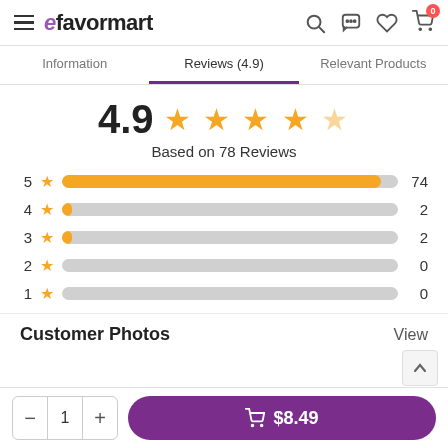efavormart — navigation header
Information | Reviews (4.9) | Relevant Products
[Figure (bar-chart): 4.9 — Based on 78 Reviews]
Customer Photos
View
− 1 +   🛒 $8.49